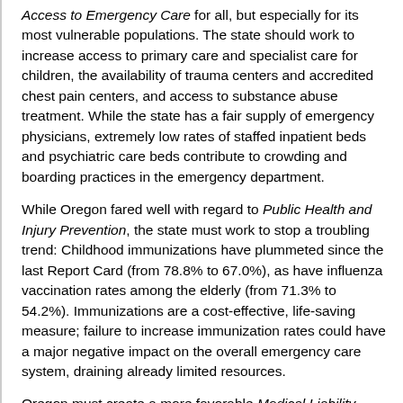Access to Emergency Care for all, but especially for its most vulnerable populations. The state should work to increase access to primary care and specialist care for children, the availability of trauma centers and accredited chest pain centers, and access to substance abuse treatment. While the state has a fair supply of emergency physicians, extremely low rates of staffed inpatient beds and psychiatric care beds contribute to crowding and boarding practices in the emergency department.
While Oregon fared well with regard to Public Health and Injury Prevention, the state must work to stop a troubling trend: Childhood immunizations have plummeted since the last Report Card (from 78.8% to 67.0%), as have influenza vaccination rates among the elderly (from 71.3% to 54.2%). Immunizations are a cost-effective, life-saving measure; failure to increase immunization rates could have a major negative impact on the overall emergency care system, draining already limited resources.
Oregon must create a more favorable Medical Liability Environment, their...